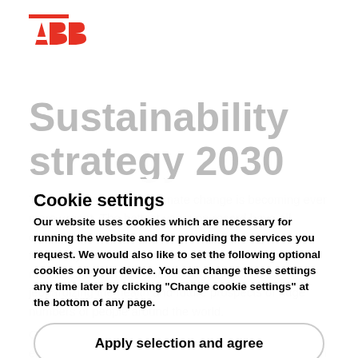[Figure (logo): ABB company logo with red triangle shapes and red bar above]
Sustainability strategy 2030
The need for action on climate change is becoming ever more urgent. The hottest years on record have all occurred since 1998 and they are increasing in frequency. At the same time, overuse of the earth's resources and environmental degradation are jeopardizing the health and future prospects of huge numbers of people around the world.
Cookie settings
Our website uses cookies which are necessary for running the website and for providing the services you request. We would also like to set the following optional cookies on your device. You can change these settings any time later by clicking "Change cookie settings" at the bottom of any page.
Apply selection and agree
Select all and agree
Over the coming decades, the pressure on our environment will only increase: today's global population of 7.8 billion is expected to expand to 9.7 billion by 2050 (UN). Some 80 percent of people will live in cities, placing enormous burdens on already stretched water, food, energy and transportation systems.